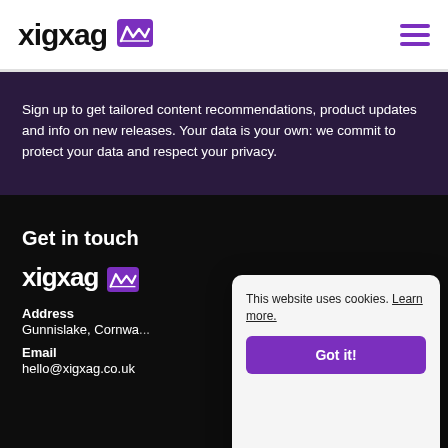xigxag [logo icon] [hamburger menu]
Sign up to get tailored content recommendations, product updates and info on new releases. Your data is your own: we commit to protect your data and respect your privacy.
Get in touch
[Figure (logo): xigxag logo in white with zigzag wifi icon]
Address
Gunnislake, Cornwa...
Email
hello@xigxag.co.uk
This website uses cookies. Learn more. Got it!